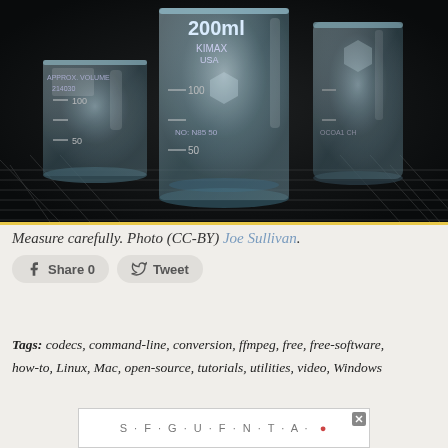[Figure (photo): Three glass laboratory beakers/graduated cylinders on a wire rack. The middle one is labeled '200ml KIMAX USA' with measurement markings visible (100, 50). Dark background with metallic grid surface.]
Measure carefully. Photo (CC-BY) Joe Sullivan.
Tags: codecs, command-line, conversion, ffmpeg, free, free-software, how-to, Linux, Mac, open-source, tutorials, utilities, video, Windows